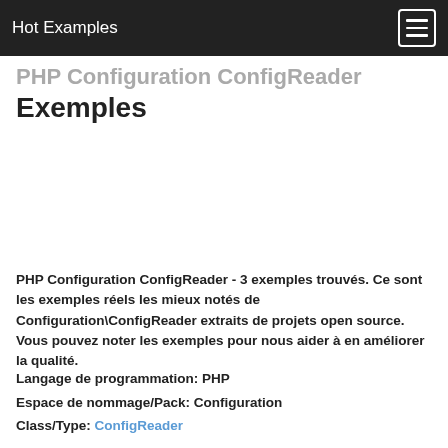Hot Examples
PHP Configuration ConfigReader Exemples
PHP Configuration ConfigReader - 3 exemples trouvés. Ce sont les exemples réels les mieux notés de Configuration\ConfigReader extraits de projets open source. Vous pouvez noter les exemples pour nous aider à en améliorer la qualité.
Langage de programmation: PHP
Espace de nommage/Pack: Configuration
Class/Type: ConfigReader